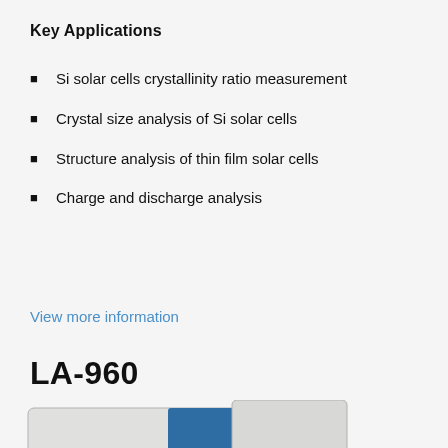Key Applications
Si solar cells crystallinity ratio measurement
Crystal size analysis of Si solar cells
Structure analysis of thin film solar cells
Charge and discharge analysis
View more information
LA-960
[Figure (photo): Photo of the LA-960 Partica laser diffraction particle size analyzer instrument, white and grey body with blue panel, partial view]